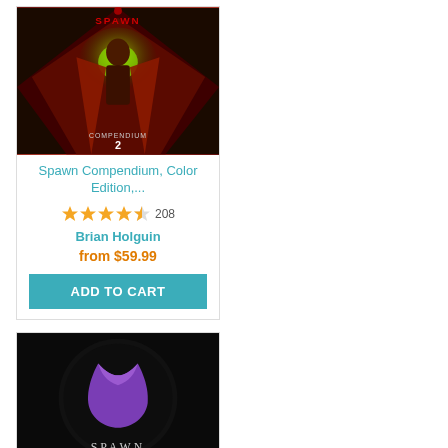[Figure (illustration): Spawn Compendium Color Edition book cover - comic book art with Spawn character and green energy]
Spawn Compendium, Color Edition,...
[Figure (illustration): Star rating: 4.5 stars out of 5, 208 reviews]
Brian Holguin
from $59.99
ADD TO CART
[Figure (illustration): Spawn Deluxe Hardcover Signed Edition book cover - dark cover with purple Spawn mask/symbol]
Spawn Deluxe Hardcover Signed Edition...
Brian Holguin
Out of Stock
[Figure (illustration): Bottom left product card - red comic book cover partially visible]
[Figure (illustration): Bottom right product card - dark fantasy book cover partially visible]